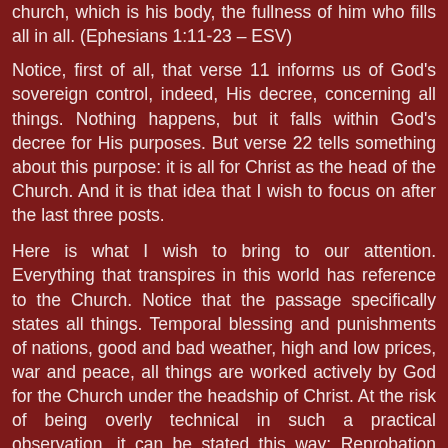church, which is his body, the fullness of him who fills all in all. (Ephesians 1:11-23 – ESV)
Notice, first of all, that verse 11 informs us of God's sovereign control, indeed, His decree, concerning all things. Nothing happens, but it falls within God's decree for His purposes. But verse 22 tells something about this purpose: it is all for Christ as the head of the Church. And it is that idea that I wish to focus on after the last three posts.
Here is what I wish to bring to our attention. Everything that transpires in this world has reference to the Church. Notice that the passage specifically states all things. Temporal blessing and punishments of nations, good and bad weather, high and low prices, war and peace, all things are worked actively by God for the Church under the headship of Christ. At the risk of being overly technical in such a practical observation, it can be stated this way: Reprobation serves Election.
Before bringing our observations to the present, I wish to use the Old Testament as an illustration. Granted, many things have transpired in old history that pointed to his Christ...